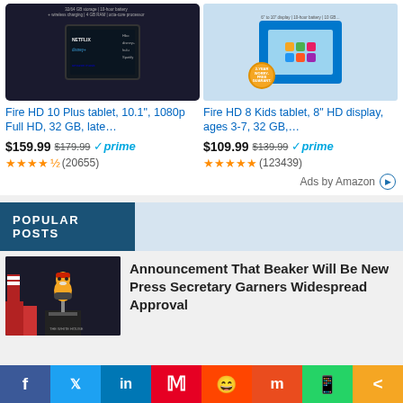[Figure (screenshot): Amazon ad: Fire HD 10 Plus tablet product image on dark background]
Fire HD 10 Plus tablet, 10.1", 1080p Full HD, 32 GB, late…
$159.99 $179.99 ✓prime ★★★★½ (20655)
[Figure (screenshot): Amazon ad: Fire HD 8 Kids tablet product image with blue bumper case]
Fire HD 8 Kids tablet, 8" HD display, ages 3-7, 32 GB,…
$109.99 $139.99 ✓prime ★★★★★ (123439)
Ads by Amazon ▷
POPULAR POSTS
[Figure (photo): Photo of person at White House podium dressed as Beaker from the Muppets]
Announcement That Beaker Will Be New Press Secretary Garners Widespread Approval
Social share bar: Facebook, Twitter, LinkedIn, Pinterest, Reddit, Mix, WhatsApp, Share